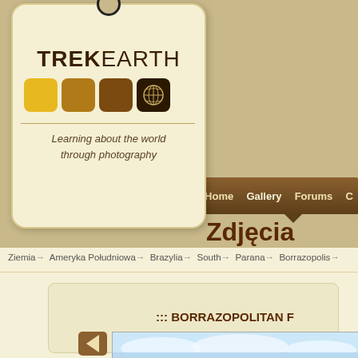[Figure (screenshot): TrekEarth website screenshot showing logo tag with colored squares and world icon, navigation bar with Home, Gallery, Forums links, Zdjecia section title, breadcrumb navigation, and partial content area with BORRAZOPOLITAN title and photo strip]
TREKEARTH
Learning about the world through photography
Home  Gallery  Forums  C
Zdjęcia
Ziemia → Ameryka Południowa → Brazylia → South → Parana → Borrazopolis →
::: BORRAZOPOLITAN F